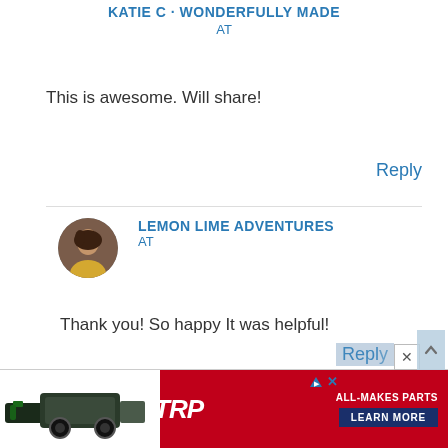KATIE C · WONDERFULLY MADE
AT
This is awesome. Will share!
Reply
LEMON LIME ADVENTURES
AT
Thank you! So happy It was helpful!
[Figure (photo): Advertisement banner for TRP All-Makes Parts with motor image and Learn More button]